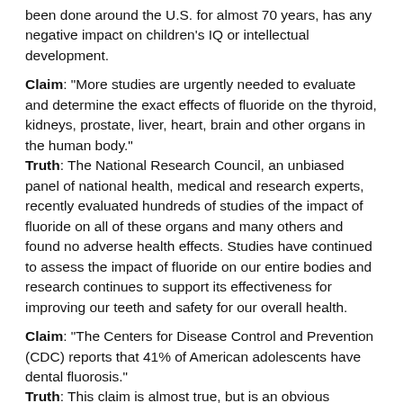been done around the U.S. for almost 70 years, has any negative impact on children's IQ or intellectual development.
Claim: "More studies are urgently needed to evaluate and determine the exact effects of fluoride on the thyroid, kidneys, prostate, liver, heart, brain and other organs in the human body." Truth: The National Research Council, an unbiased panel of national health, medical and research experts, recently evaluated hundreds of studies of the impact of fluoride on all of these organs and many others and found no adverse health effects. Studies have continued to assess the impact of fluoride on our entire bodies and research continues to support its effectiveness for improving our teeth and safety for our overall health.
Claim: "The Centers for Disease Control and Prevention (CDC) reports that 41% of American adolescents have dental fluorosis." Truth: This claim is almost true, but is an obvious attempt to mislead and incite fear. According to CDC, about 40 percent of adolescents have mild or very mild fluorosis. What the bill neglects to mention, of course, is that this type of dental fluorosis is a cosmetic condition that in no way impairs or impacts an individual's